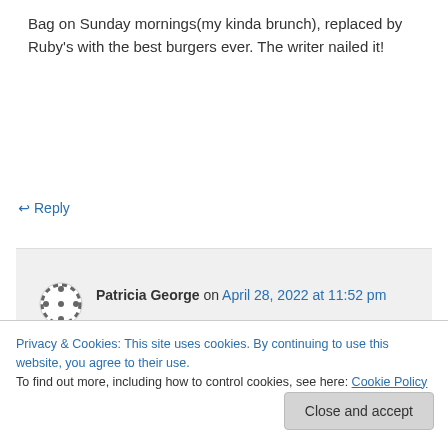Bag on Sunday mornings(my kinda brunch), replaced by Ruby's with the best burgers ever. The writer nailed it!
↪ Reply
Patricia George on April 28, 2022 at 11:52 pm
I loved the Bag and eventually waitresses there in my early '20s in 1977. When did it become Ruby's
↪ Reply
Privacy & Cookies: This site uses cookies. By continuing to use this website, you agree to their use.
To find out more, including how to control cookies, see here: Cookie Policy
Close and accept